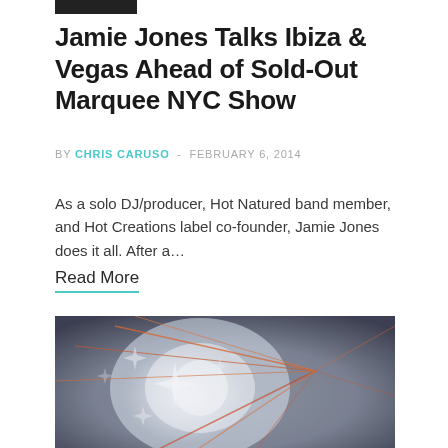[Figure (other): Small black rectangular bar at the top of the page, used as a category or tag indicator.]
Jamie Jones Talks Ibiza & Vegas Ahead of Sold-Out Marquee NYC Show
BY CHRIS CARUSO - FEBRUARY 6, 2014
As a solo DJ/producer, Hot Natured band member, and Hot Creations label co-founder, Jamie Jones does it all. After a…
Read More
[Figure (photo): A concert/club photo showing colorful laser light beams radiating outward against a dark background with some white/silver decorative star-burst shapes.]